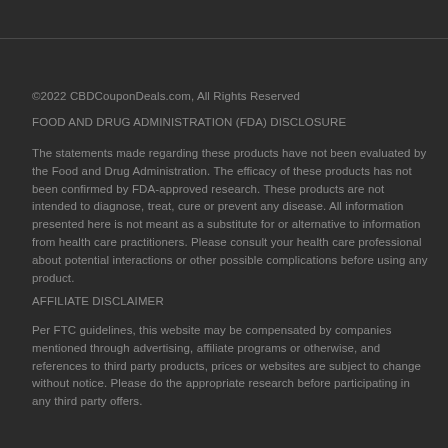©2022 CBDCouponDeals.com, All Rights Reserved
FOOD AND DRUG ADMINISTRATION (FDA) DISCLOSURE
The statements made regarding these products have not been evaluated by the Food and Drug Administration. The efficacy of these products has not been confirmed by FDA-approved research. These products are not intended to diagnose, treat, cure or prevent any disease. All information presented here is not meant as a substitute for or alternative to information from health care practitioners. Please consult your health care professional about potential interactions or other possible complications before using any product.
AFFILIATE DISCLAIMER
Per FTC guidelines, this website may be compensated by companies mentioned through advertising, affiliate programs or otherwise, and references to third party products, prices or websites are subject to change without notice. Please do the appropriate research before participating in any third party offers.